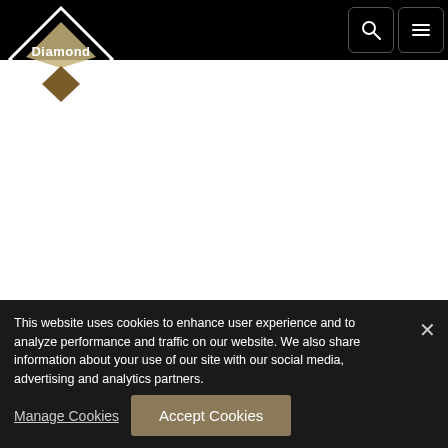[Figure (logo): Diamond Pet Foods logo — white diamond outline with brown/tan inner diamond shape and 'Diamond' text below]
ESSENTIAL NUTRIENTS IN YOUR PET'S DIET
Understanding pet nutrition can be a little complicated. Nutrients are different from ingredients,
This website uses cookies to enhance user experience and to analyze performance and traffic on our website. We also share information about your use of our site with our social media, advertising and analytics partners.
Manage Cookies
Accept Cookies